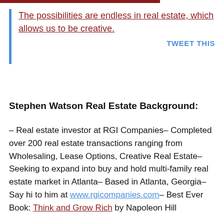The possibilities are endless in real estate, which allows us to be creative.
TWEET THIS
Stephen Watson Real Estate Background:
– Real estate investor at RGI Companies– Completed over 200 real estate transactions ranging from Wholesaling, Lease Options, Creative Real Estate– Seeking to expand into buy and hold multi-family real estate market in Atlanta– Based in Atlanta, Georgia– Say hi to him at www.rgicompanies.com– Best Ever Book: Think and Grow Rich by Napoleon Hill